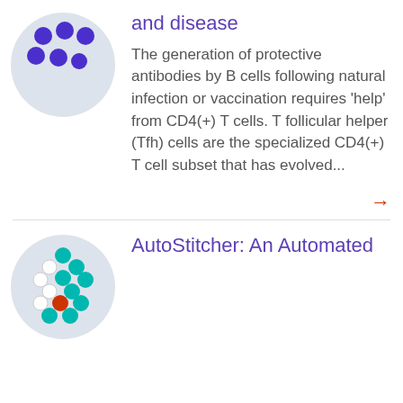[Figure (illustration): Circular light gray icon with purple dots arranged in a pattern representing B cells or molecular structure]
and disease
The generation of protective antibodies by B cells following natural infection or vaccination requires 'help' from CD4(+) T cells. T follicular helper (Tfh) cells are the specialized CD4(+) T cell subset that has evolved...
[Figure (illustration): Circular light gray icon with teal and white dots arranged in a pattern with one orange/red dot, representing molecular or cellular structure for AutoStitcher]
AutoStitcher: An Automated